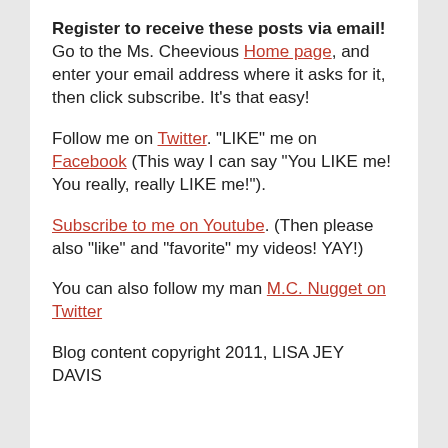Register to receive these posts via email! Go to the Ms. Cheevious Home page, and enter your email address where it asks for it, then click subscribe. It's that easy!
Follow me on Twitter. "LIKE" me on Facebook (This way I can say “You LIKE me! You really, really LIKE me!”).
Subscribe to me on Youtube. (Then please also “like” and “favorite” my videos! YAY!)
You can also follow my man M.C. Nugget on Twitter
Blog content copyright 2011, LISA JEY DAVIS